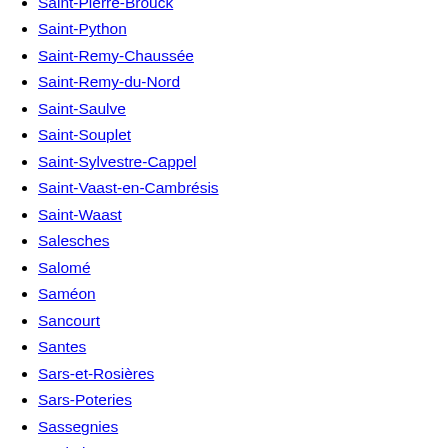Saint-Pierre-Brouck
Saint-Python
Saint-Remy-Chaussée
Saint-Remy-du-Nord
Saint-Saulve
Saint-Souplet
Saint-Sylvestre-Cappel
Saint-Vaast-en-Cambrésis
Saint-Waast
Salesches
Salomé
Saméon
Sancourt
Santes
Sars-et-Rosières
Sars-Poteries
Sassegnies
Saultain
Saulzoir
Sebourg
Seclin
Sémeries
Semousies
La Sentinelle
Sepmeries